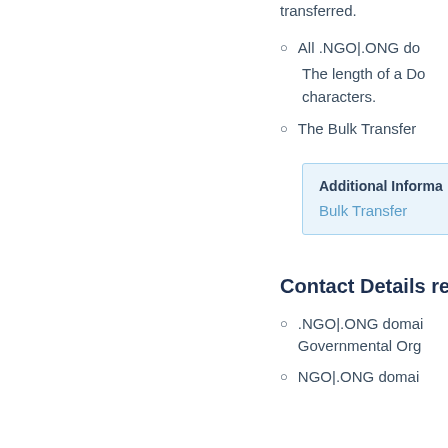transferred.
All .NGO|.ONG do
The length of a Do characters.
The Bulk Transfer
Additional Informa
Bulk Transfer
Contact Details rela
.NGO|.ONG domai Governmental Org
NGO|.ONG domai